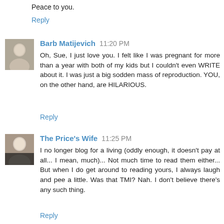Peace to you.
Reply
Barb Matijevich  11:20 PM
Oh, Sue, I just love you. I felt like I was pregnant for more than a year with both of my kids but I couldn't even WRITE about it. I was just a big sodden mass of reproduction. YOU, on the other hand, are HILARIOUS.
Reply
The Price's Wife  11:25 PM
I no longer blog for a living (oddly enough, it doesn't pay at all... I mean, much)... Not much time to read them either... But when I do get around to reading yours, I always laugh and pee a little. Was that TMI? Nah. I don't believe there's any such thing.
Reply